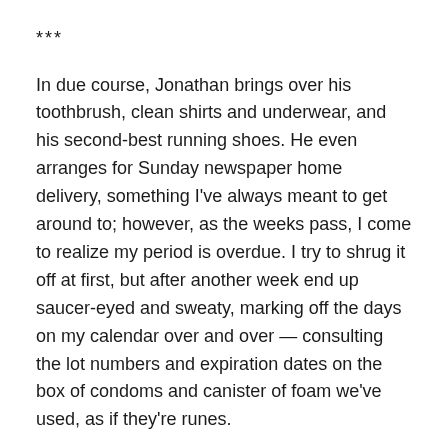***
In due course, Jonathan brings over his toothbrush, clean shirts and underwear, and his second-best running shoes. He even arranges for Sunday newspaper home delivery, something I've always meant to get around to; however, as the weeks pass, I come to realize my period is overdue. I try to shrug it off at first, but after another week end up saucer-eyed and sweaty, marking off the days on my calendar over and over — consulting the lot numbers and expiration dates on the box of condoms and canister of foam we've used, as if they're runes.
One night, soon after I start to worry, we go to this cowboy bar. I have authentic boots, a string tie, a silver belt buckle, everything but a neon sign saying “POSSIBLY PREGNANT.” I don’t say a word about my period, but all